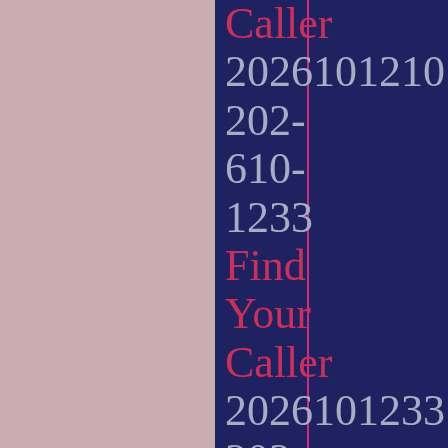Caller 2026101210 202- 610- 1233 Find Your Caller 2026101233 202- 610- 1265 Find Your Caller 2026101265